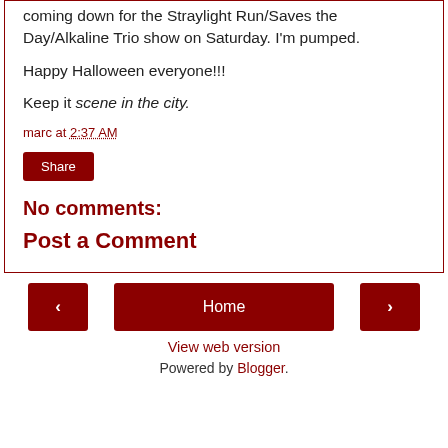coming down for the Straylight Run/Saves the Day/Alkaline Trio show on Saturday. I'm pumped.
Happy Halloween everyone!!!
Keep it scene in the city.
marc at 2:37 AM
Share
No comments:
Post a Comment
Home | View web version | Powered by Blogger.